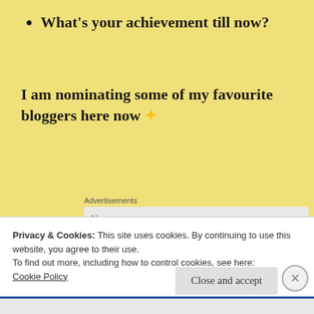What's your achievement till now?
I am nominating some of my favourite bloggers here now ✦
Advertisements
Dailybiblebytes foryou.wordpress.com
Goldenbird01.wordpress.com
Privacy & Cookies: This site uses cookies. By continuing to use this website, you agree to their use.
To find out more, including how to control cookies, see here: Cookie Policy
Close and accept